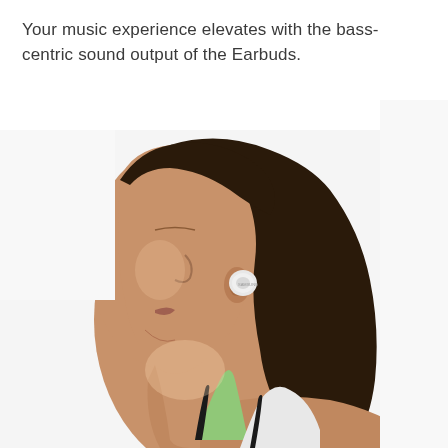Your music experience elevates with the bass-centric sound output of the Earbuds.
[Figure (photo): A woman seen in profile view from the side, wearing a white wireless earbud in her left ear, with dark hair in a ponytail. She is wearing a light green and white athletic tank top. The background is white.]